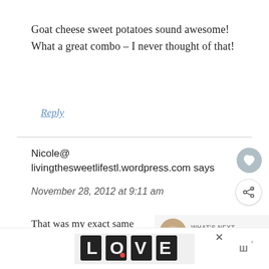Goat cheese sweet potatoes sound awesome! What a great combo – I never thought of that!
Reply
Nicole@ livingthesweetlifestl.wordpress.com says
November 28, 2012 at 9:11 am
That was my exact same dinner from
[Figure (other): LOVE decorative text logo advertisement banner]
[Figure (other): Heart (like) button - circular grey icon]
[Figure (other): Share button - circular white icon with share symbol]
[Figure (other): What's Next overlay showing food image thumbnail with text 'To ATL and Back']